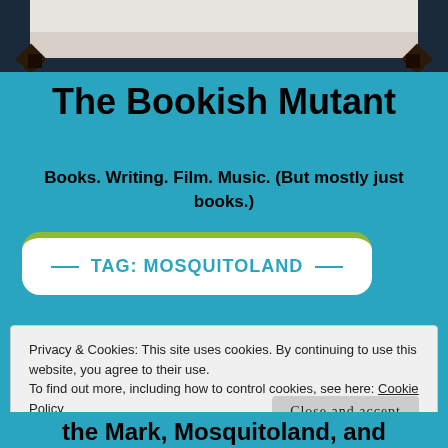[Figure (photo): Top portion of a book cover image visible at the top of the page, partially cropped, with dark background and light upper area.]
The Bookish Mutant
Books. Writing. Film. Music. (But mostly just books.)
TAG: MOSQUITOLAND
Privacy & Cookies: This site uses cookies. By continuing to use this website, you agree to their use.
To find out more, including how to control cookies, see here: Cookie Policy
Close and accept
the Mark, Mosquitoland, and